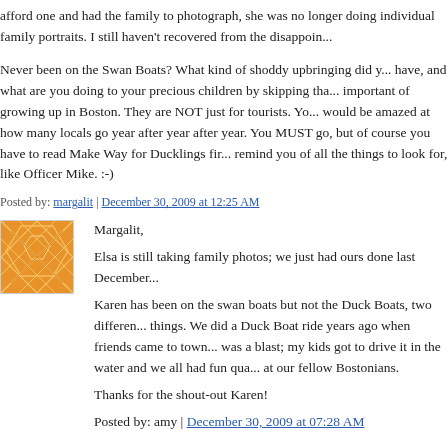afford one and had the family to photograph, she was no longer doing individual family portraits. I still haven't recovered from the disappoin...
Never been on the Swan Boats? What kind of shoddy upbringing did y... have, and what are you doing to your precious children by skipping tha... important of growing up in Boston. They are NOT just for tourists. Yo... would be amazed at how many locals go year after year after year. You MUST go, but of course you have to read Make Way for Ducklings fir... remind you of all the things to look for, like Officer Mike. :-)
Posted by: margalit | December 30, 2009 at 12:25 AM
[Figure (illustration): Orange avatar with abstract geometric pattern]
Margalit,
Elsa is still taking family photos; we just had ours done last December...
Karen has been on the swan boats but not the Duck Boats, two differen... things. We did a Duck Boat ride years ago when friends came to town... was a blast; my kids got to drive it in the water and we all had fun qua... at our fellow Bostonians.
Thanks for the shout-out Karen!
Posted by: amy | December 30, 2009 at 07:28 AM
[Figure (illustration): Green/yellow avatar with abstract geometric pattern]
In San Diego the duck boat tour is the Seal Tour. If you can't bring yo...